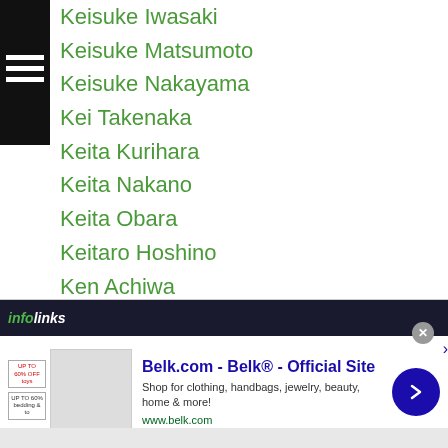Keisuke Iwasaki
Keisuke Matsumoto
Keisuke Nakayama
Kei Takenaka
Keita Kurihara
Keita Nakano
Keita Obara
Keitaro Hoshino
Ken Achiwa
Kenbati Haiyilao
Kengo-nagashima
Kenichi Horikawa
Kenichi Miyazaki
Kenichi Ogawa
Kenichi Watanabe
Kenji Fujita
[Figure (screenshot): Infolinks advertisement banner for Belk.com - Belk Official Site, showing clothing and home goods advertisement]